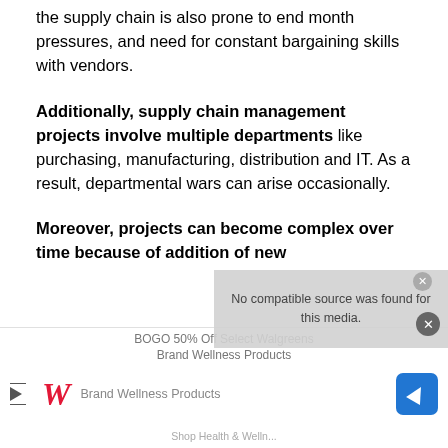the supply chain is also prone to end month pressures, and need for constant bargaining skills with vendors.
Additionally, supply chain management projects involve multiple departments like purchasing, manufacturing, distribution and IT. As a result, departmental wars can arise occasionally.
Moreover, projects can become complex over time because of addition of new
[Figure (other): Advertisement overlay: Walgreens ad for BOGO 50% Off Select Walgreens Brand Wellness Products, with video notice overlay reading 'No compatible source was found for this media.']